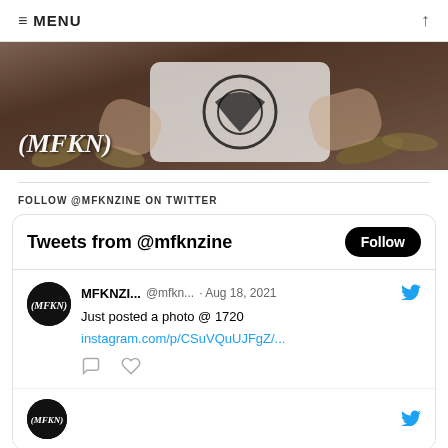≡ MENU
[Figure (photo): Photo of a tattooed person sitting cross-legged outdoors wearing a black and white graphic t-shirt, surrounded by dry leaves. White handwritten-style text reads (MFKN) in the lower left.]
FOLLOW @MFKNZINE ON TWITTER
Tweets from @mfknzine
MFKNZI... @mfkn... · Aug 18, 2021
Just posted a photo @ 1720
instagram.com/p/CSuVQuUJFgZ/...